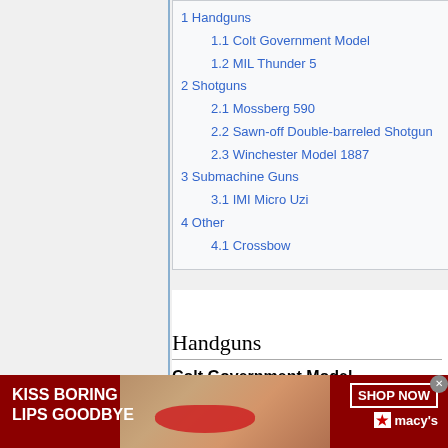1 Handguns
1.1 Colt Government Model
1.2 MIL Thunder 5
2 Shotguns
2.1 Mossberg 590
2.2 Sawn-off Double-barreled Shotgun
2.3 Winchester Model 1887
3 Submachine Guns
3.1 IMI Micro Uzi
4 Other
4.1 Crossbow
Handguns
Colt Government Model
[Figure (photo): Macy's advertisement banner with woman's face, red lipstick. Text: KISS BORING LIPS GOODBYE. SHOP NOW. Macy's star logo.]